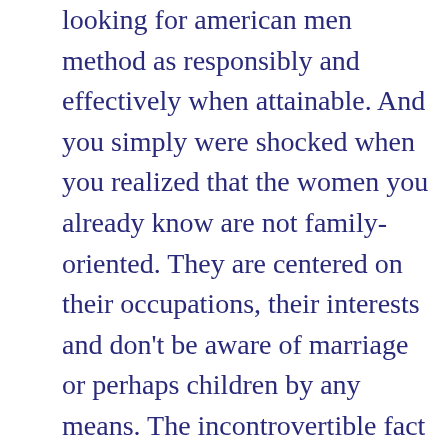looking for american men method as responsibly and effectively when attainable. And you simply were shocked when you realized that the women you already know are not family-oriented. They are centered on their occupations, their interests and don't be aware of marriage or perhaps children by any means. The incontrovertible fact that Japanese postal mail order birdes-to-be don't need you to love them only due to their racial doesn't necessarily mean they want you to completely dismiss their track record. If you talk about your information with the Japanese traditions or vocabulary, it's entirely going to impress the lady more.
Many American males pointed out that Japanese - mail order star of the event is the primary to follow style traits. At the identical time, a lot of them are